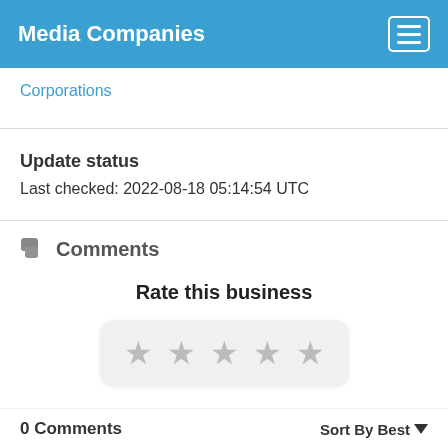Media Companies
Corporations
Update status
Last checked: 2022-08-18 05:14:54 UTC
Comments
Rate this business
0 Comments
Sort By Best